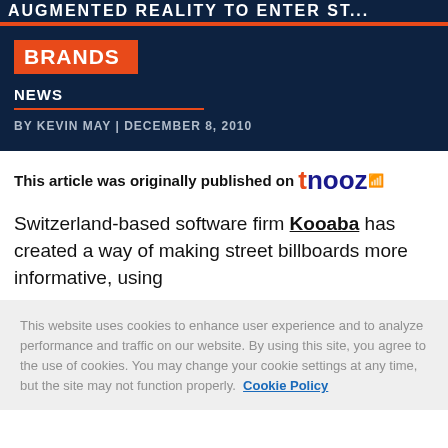AUGMENTED REALITY TO ENTER ST...
BRANDS
NEWS
BY KEVIN MAY | DECEMBER 8, 2010
This article was originally published on tnooz
Switzerland-based software firm Kooaba has created a way of making street billboards more informative, using
This website uses cookies to enhance user experience and to analyze performance and traffic on our website. By using this site, you agree to the use of cookies. You may change your cookie settings at any time, but the site may not function properly.  Cookie Policy